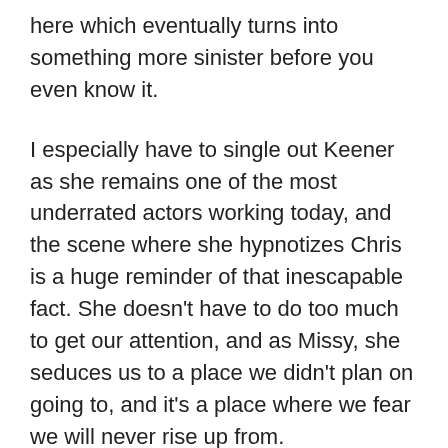here which eventually turns into something more sinister before you even know it.
I especially have to single out Keener as she remains one of the most underrated actors working today, and the scene where she hypnotizes Chris is a huge reminder of that inescapable fact. She doesn’t have to do too much to get our attention, and as Missy, she seduces us to a place we didn’t plan on going to, and it’s a place where we fear we will never rise up from.
There’s also a terrific scene-stealing performance from Lil Rel Howery as Chris’ best friend, Rod Williams, a TSA agent who has